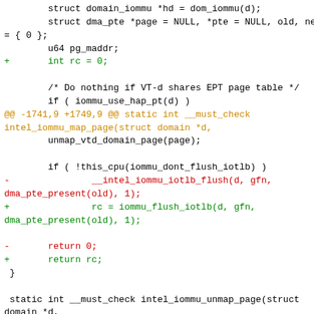[Figure (screenshot): A unified diff / patch showing code changes in C source file for intel_iommu driver. Lines show struct declarations, additions (+) in green, removals (-) in red, and hunk headers in orange/yellow.]